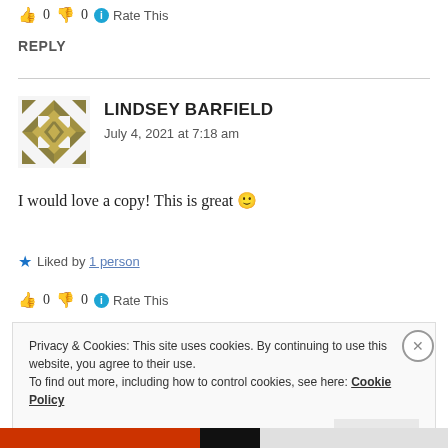👍 0 👎 0 ℹ Rate This
REPLY
LINDSEY BARFIELD
July 4, 2021 at 7:18 am
I would love a copy! This is great 🙂
★ Liked by 1 person
👍 0 👎 0 ℹ Rate This
Privacy & Cookies: This site uses cookies. By continuing to use this website, you agree to their use.
To find out more, including how to control cookies, see here: Cookie Policy
I accept!